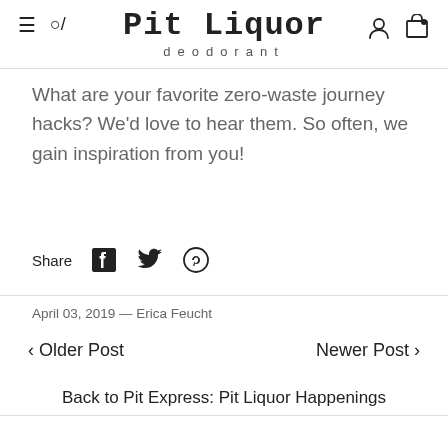Pit Liquor deodorant
What are your favorite zero-waste journey hacks? We'd love to hear them. So often, we gain inspiration from you!
Share
April 03, 2019 — Erica Feucht
< Older Post
Newer Post >
Back to Pit Express: Pit Liquor Happenings